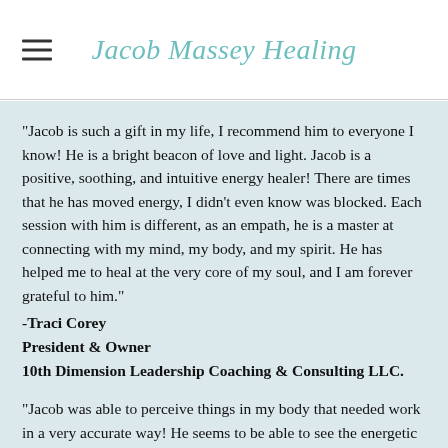Jacob Massey Healing
“Jacob is such a gift in my life, I recommend him to everyone I know! He is a bright beacon of love and light. Jacob is a positive, soothing, and intuitive energy healer! There are times that he has moved energy, I didn’t even know was blocked. Each session with him is different, as an empath, he is a master at connecting with my mind, my body, and my spirit. He has helped me to heal at the very core of my soul, and I am forever grateful to him.”
-Traci Corey
President & Owner
10th Dimension Leadership Coaching & Consulting LLC.
"Jacob was able to perceive things in my body that needed work in a very accurate way! He seems to be able to see the energetic systems as they work together. I’ve never had such an amazing and intuitively guided massage as with him! He’s super authentic, compassionate, and in his heart too! I will never go to anyone